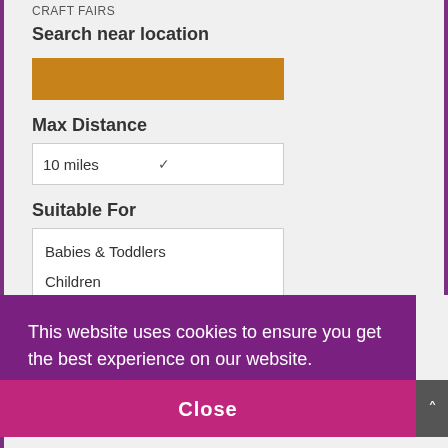CRAFT FAIRS
Search near location
Max Distance
10 miles
Suitable For
Babies & Toddlers
Children
Young People
Indoor/Outdoor
This website uses cookies to ensure you get the best experience on our website.
Learn more
Close